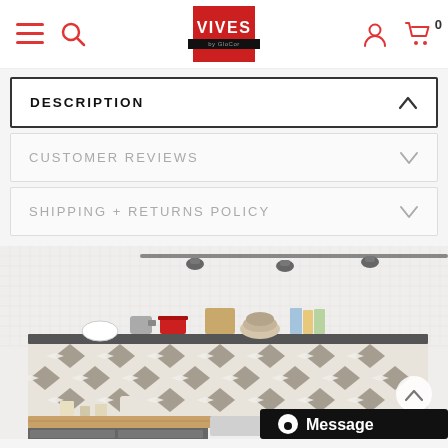VIVES by GloCor - Navigation bar with menu, search, logo, user account, and cart (0)
DESCRIPTION
CUSTOMER REVIEWS
SHIPPING + RETURNS POLICY
[Figure (photo): Kitchen interior with patterned decorative tiles as backsplash, open shelf with kitchenware and books, track lighting on ceiling, and a sink area with wooden countertop and grey cabinets. A 'Message' chat button overlay visible in bottom right.]